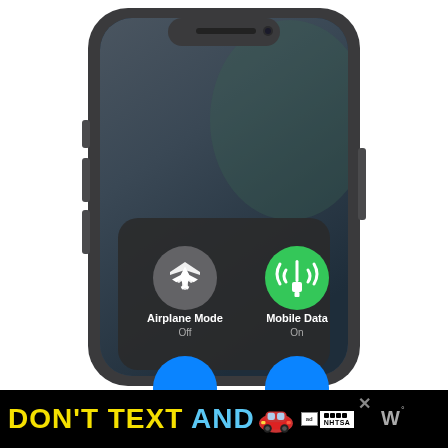[Figure (screenshot): iPhone X smartphone showing iOS Control Center with Airplane Mode Off (gray circle with airplane icon) and Mobile Data On (green circle with signal tower icon), phone has dark frame against white background]
DON'T TEXT AND [car emoji] [NHTSA ad badge]